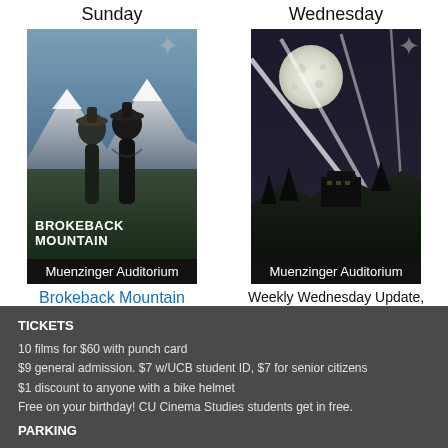Sunday
Wednesday
[Figure (photo): Brokeback Mountain movie poster showing two figures with mountains in background, text BROKEBACK MOUNTAIN]
[Figure (photo): Movie poster with moon, searchlights/beams and dark landscape scene]
Muenzinger Auditorium
Brokeback Mountain
Dec 5
Muenzinger Auditorium
Weekly Wednesday Update, December 8, 2021
Dec 8
TICKETS
10 films for $60 with punch card
$9 general admission. $7 w/UCB student ID, $7 for senior citizens
$1 discount to anyone with a bike helmet
Free on your birthday! CU Cinema Studies students get in free.
PARKING